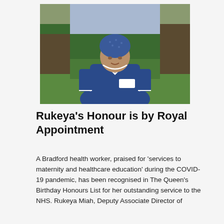[Figure (photo): A female NHS nurse wearing a blue uniform and blue patterned headscarf, standing outdoors in front of green trees and hedges, with a name badge on her uniform.]
Rukeya's Honour is by Royal Appointment
A Bradford health worker, praised for 'services to maternity and healthcare education' during the COVID-19 pandemic, has been recognised in The Queen's Birthday Honours List for her outstanding service to the NHS. Rukeya Miah, Deputy Associate Director of